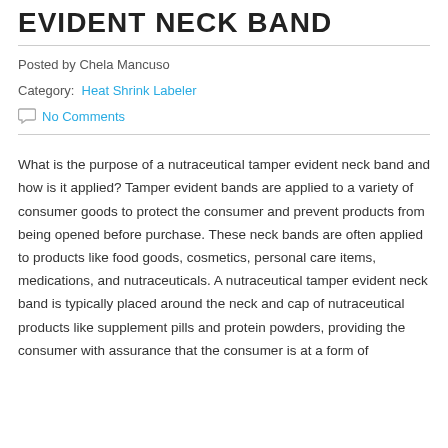EVIDENT NECK BAND
Posted by Chela Mancuso
Category: Heat Shrink Labeler
No Comments
What is the purpose of a nutraceutical tamper evident neck band and how is it applied? Tamper evident bands are applied to a variety of consumer goods to protect the consumer and prevent products from being opened before purchase. These neck bands are often applied to products like food goods, cosmetics, personal care items, medications, and nutraceuticals. A nutraceutical tamper evident neck band is typically placed around the neck and cap of nutraceutical products like supplement pills and protein powders, providing the consumer with assurance that the consumer is at a form of